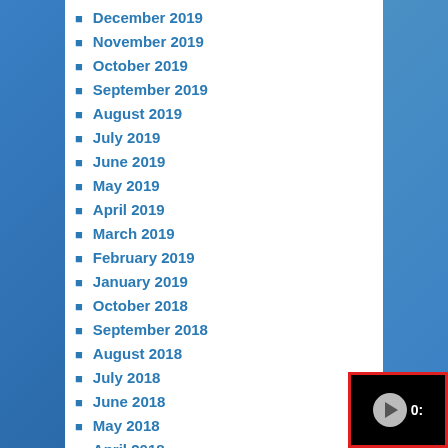December 2019
November 2019
October 2019
September 2019
August 2019
July 2019
June 2019
May 2019
April 2019
March 2019
February 2019
January 2019
October 2018
September 2018
August 2018
July 2018
June 2018
May 2018
April 2018
March 2018
February 2018
January 2018